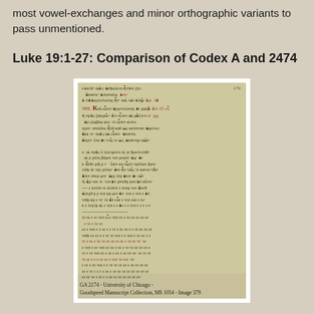most vowel-exchanges and minor orthographic variants to pass unmentioned.
Luke 19:1-27:  Comparison of Codex A and 2474
[Figure (photo): A manuscript page from GA 2174, showing Greek text in brown and red ink on aged parchment. The page is labeled 379 in the top right corner. Below the manuscript image is a caption reading: GA 2174 - University of Chicago - Goodspeed Manuscript Collection, MS 1054 - Image 379]
GA 2174 - University of Chicago - Goodspeed Manuscript Collection, MS 1054 - Image 379